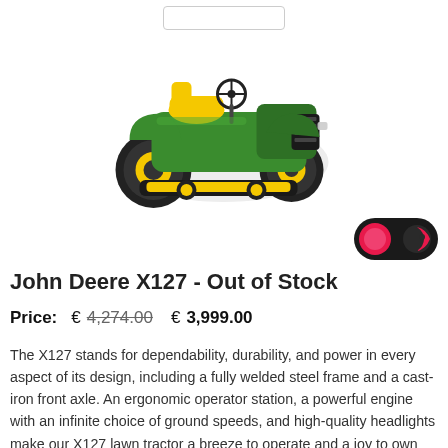[Figure (photo): John Deere X127 lawn tractor - green and yellow riding mower on white background]
[Figure (other): Dark toggle button with red/pink circle on left and crescent moon icon on right]
John Deere X127 - Out of Stock
Price:   € 4,274.00   € 3,999.00
The X127 stands for dependability, durability, and power in every aspect of its design, including a fully welded steel frame and a cast-iron front axle. An ergonomic operator station, a powerful engine with an infinite choice of ground speeds, and high-quality headlights make our X127 lawn tractor a breeze to operate and a joy to own